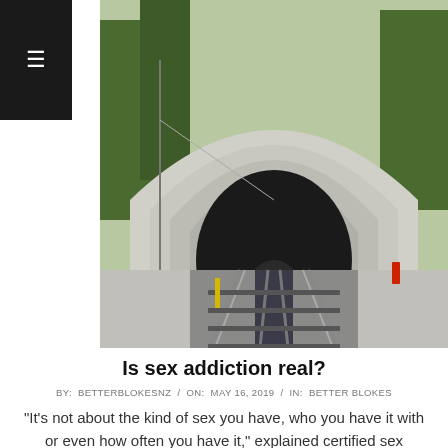[Figure (photo): Photograph of a railway tunnel entrance with multiple tracks leading into the dark tunnel, surrounded by concrete archway and green trees in the background.]
Is sex addiction real?
BY: BETTERBLOKESNZ / ON: MAY 16, 2019 / IN: BETTER BLOKES
“It’s not about the kind of sex you have, who you have it with or even how often you have it,” explained certified sex addiction therapist Robert Weiss. “We don’t base the definition of alcoholism on the type of alcohol someone drinks. Like alcoholism, the sex addiction